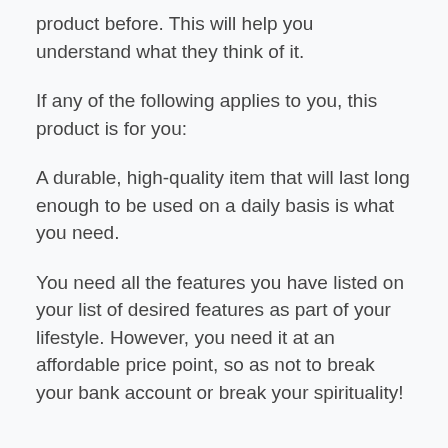product before. This will help you understand what they think of it.
If any of the following applies to you, this product is for you:
A durable, high-quality item that will last long enough to be used on a daily basis is what you need.
You need all the features you have listed on your list of desired features as part of your lifestyle. However, you need it at an affordable price point, so as not to break your bank account or break your spirituality!